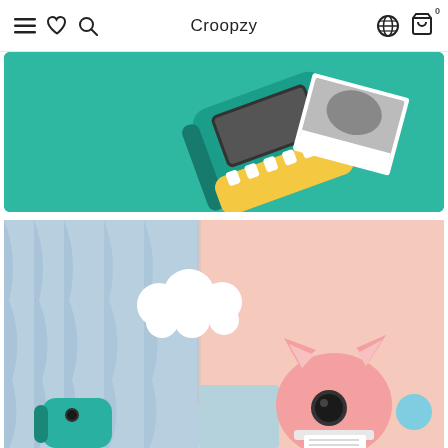Croopzy
[Figure (photo): Teal/green children's instant print camera device tilted at angle with yellow accent and photo print, on teal/green background]
[Figure (photo): Pink cat-shaped children's instant print camera on pink background with blue curtain on left side, white cloud decoration, teal dinosaur camera in lower left, geometric light blue cube, and small teal ball]